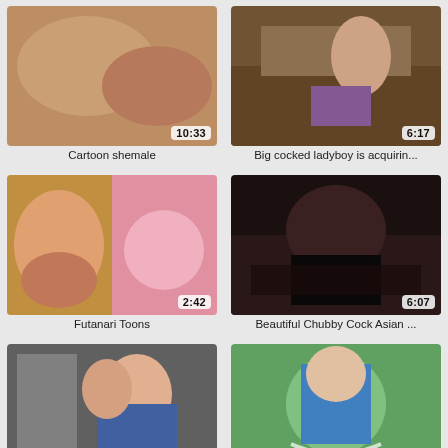[Figure (photo): Cartoon shemale thumbnail with duration 10:33]
Cartoon shemale
[Figure (photo): Big cocked ladyboy is acquirin... thumbnail with duration 6:17]
Big cocked ladyboy is acquirin...
[Figure (photo): Futanari Toons thumbnail with duration 2:42]
Futanari Toons
[Figure (photo): Beautiful Chubby Cock Asian ... thumbnail with duration 6:07]
Beautiful Chubby Cock Asian ...
[Figure (photo): Anime thumbnail with duration 26:33]
[Figure (photo): Anime thumbnail with duration 5:11]